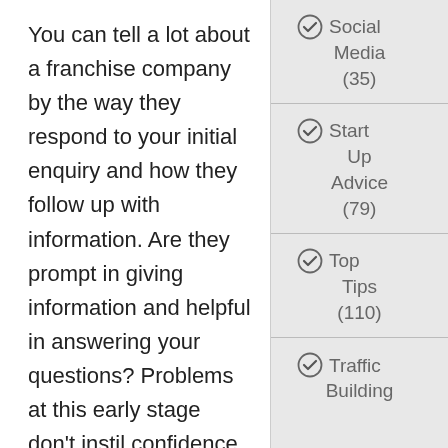You can tell a lot about a franchise company by the way they respond to your initial enquiry and how they follow up with information. Are they prompt in giving information and helpful in answering your questions? Problems at this early stage don't instil confidence for the future – see it as a warning sign.
Also, check whether
Social Media (35)
Start Up Advice (79)
Top Tips (110)
Traffic Building